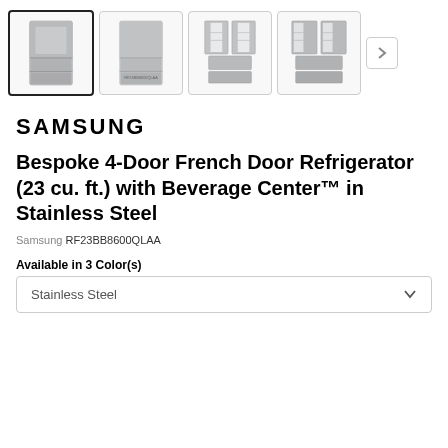[Figure (photo): Row of 4 product thumbnail images of a Samsung refrigerator from different angles, with a right navigation arrow]
SAMSUNG
Bespoke 4-Door French Door Refrigerator (23 cu. ft.) with Beverage Center™ in Stainless Steel
Samsung RF23BB8600QLAA
Available in 3 Color(s)
Stainless Steel